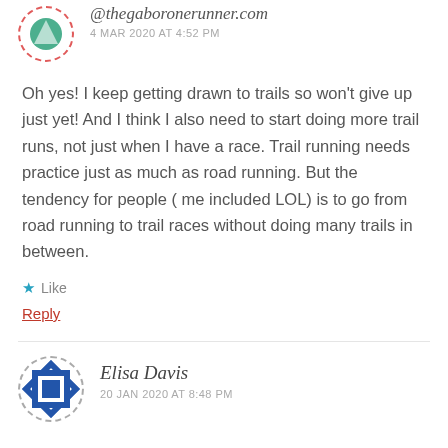@thegaboronerunner.com
4 MAR 2020 AT 4:52 PM
Oh yes! I keep getting drawn to trails so won't give up just yet! And I think I also need to start doing more trail runs, not just when I have a race. Trail running needs practice just as much as road running. But the tendency for people ( me included LOL) is to go from road running to trail races without doing many trails in between.
Like
Reply
Elisa Davis
20 JAN 2020 AT 8:48 PM